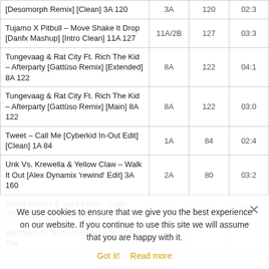| Title | Key | BPM | Duration |
| --- | --- | --- | --- |
| [Desomorph Remix] [Clean] 3A 120 | 3A | 120 | 02:3 |
| Tujamo X Pitbull – Move Shake It Drop [Danfx Mashup] [Intro Clean] 11A 127 | 11A/2B | 127 | 03:3 |
| Tungevaag & Rat City Ft. Rich The Kid – Afterparty [Gattüso Remix] [Extended] 8A 122 | 8A | 122 | 04:1 |
| Tungevaag & Rat City Ft. Rich The Kid – Afterparty [Gattüso Remix] [Main] 8A 122 | 8A | 122 | 03:0 |
| Tweet – Call Me [Cyberkid In-Out Edit] [Clean] 1A 84 | 1A | 84 | 02:4 |
| Unk Vs. Krewella & Yellow Claw – Walk It Out [Alex Dynamix 'rewind' Edit] 3A 160 | 2A | 80 | 03:2 |
| Weird Genius & Sara Fajira – Lathi [R3Hab Remix] 2A 90 | 2A | 90 | 02:0 |
| Westbam Ft. Richard Butler – You Need The... |  |  |  |
We use cookies to ensure that we give you the best experience on our website. If you continue to use this site we will assume that you are happy with it.